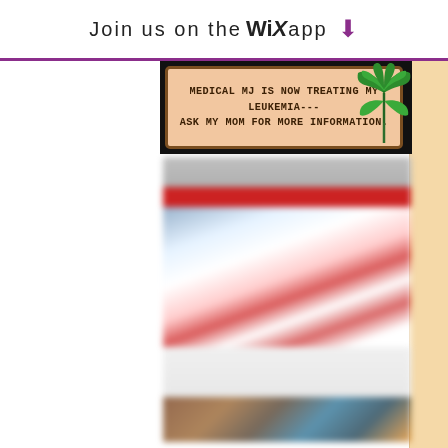Join us on the WiX app ⬇
[Figure (infographic): A sign/banner with dark brown border on a peach/tan background reading: MEDICAL MJ IS NOW TREATING MY LEUKEMIA--- ASK MY MOM FOR MORE INFORMATION. A cannabis leaf graphic appears in the upper right of the sign. Below is a blurred website screenshot showing a red-white-blue patriotic theme with blurred photos at the bottom.]
MEDICAL MJ IS NOW TREATING MY LEUKEMIA--- ASK MY MOM FOR MORE INFORMATION.